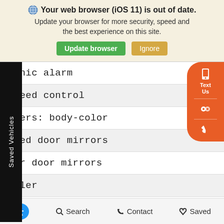[Figure (screenshot): Browser update warning banner with globe icon, bold text 'Your web browser (iOS 11) is out of date.', subtitle text, and two buttons: green 'Update browser' and tan 'Ignore']
Panic alarm
Speed control
mpers: body-color
ated door mirrors
wer door mirrors
oiler
Turn signal indicator mirrors
[Figure (screenshot): Orange floating sidebar button with phone/text/chat/call icons and 'Text Us' label; black vertical 'Saved Vehicles' sidebar label on left]
[Figure (screenshot): Bottom navigation bar with accessibility icon (blue circle), Search, Contact, and Saved options]